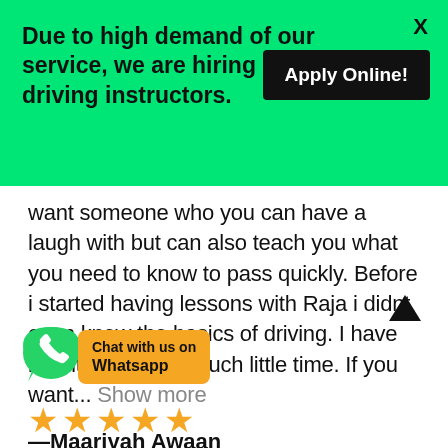Due to high demand of our service, we are hiring driving instructors.
Apply Online!
X
want someone who you can have a laugh with but can also teach you what you need to know to pass quickly. Before i started having lessons with Raja i didnt even know the basics of driving. I have learnt so much in such little time. If you want...  Show more
—Maariyah Awaan
[Figure (infographic): WhatsApp chat widget with green phone icon and orange label reading 'Chat with us on Whatsapp']
[Figure (infographic): Five gold star rating icons]